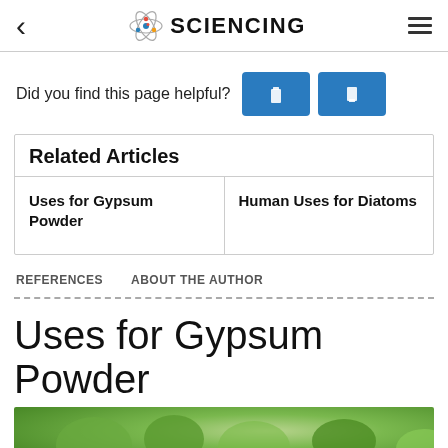SCIENCING
Did you find this page helpful?
Related Articles
Uses for Gypsum Powder
Human Uses for Diatoms
REFERENCES    ABOUT THE AUTHOR
Uses for Gypsum Powder
[Figure (photo): Photo of green vegetables or plants, partially visible at bottom of page]